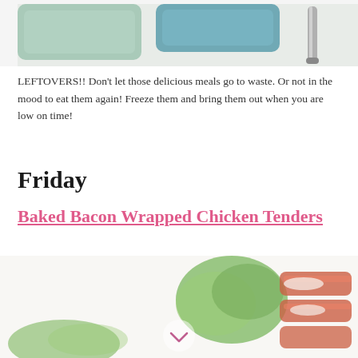[Figure (photo): Top portion of a photo showing mint green and teal blue food storage containers with a stainless steel straw, on a light background]
LEFTOVERS!! Don't let those delicious meals go to waste. Or not in the mood to eat them again! Freeze them and bring them out when you are low on time!
Friday
Baked Bacon Wrapped Chicken Tenders
[Figure (photo): Bottom portion of a photo showing baked bacon wrapped chicken tenders with green herb garnish on a white background]